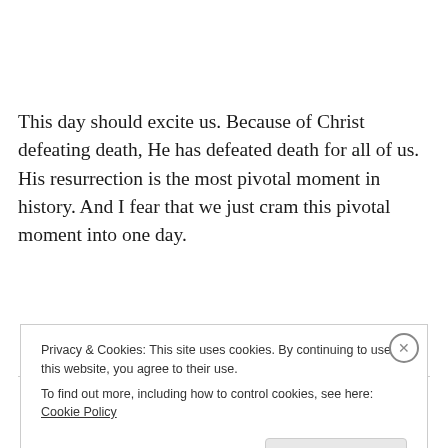This day should excite us. Because of Christ defeating death, He has defeated death for all of us. His resurrection is the most pivotal moment in history. And I fear that we just cram this pivotal moment into one day.
On the cross, Christ died a criminal
Privacy & Cookies: This site uses cookies. By continuing to use this website, you agree to their use.
To find out more, including how to control cookies, see here: Cookie Policy